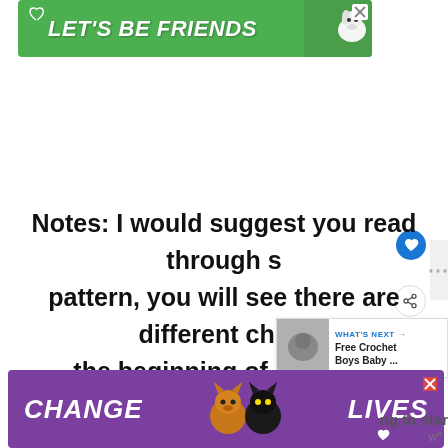[Figure (screenshot): Green advertisement banner reading LET'S BE FRIENDS with a dog image and heart/close icons]
Notes: I would suggest you read through this pattern, you will see there are different chart changes at the beginning of different rounds, watch for those changes.
[Figure (screenshot): Purple advertisement banner reading CHANGE LIVES with cat images and close/heart icons]